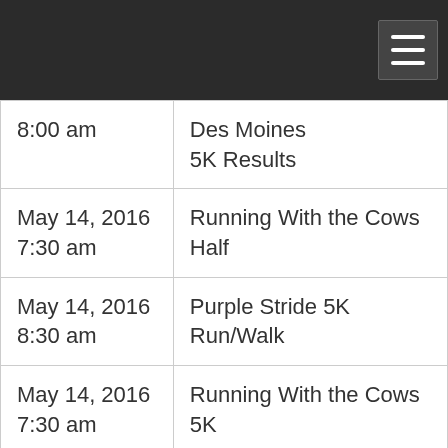| Date/Time | Event |
| --- | --- |
| 8:00 am | Des Moines
5K Results |
| May 14, 2016
7:30 am | Running With the Cows Half |
| May 14, 2016
8:30 am | Purple Stride 5K Run/Walk |
| May 14, 2016
7:30 am | Running With the Cows 5K |
| May 7, 2016
8:00 am | Nativity
5K results |
|  |  |